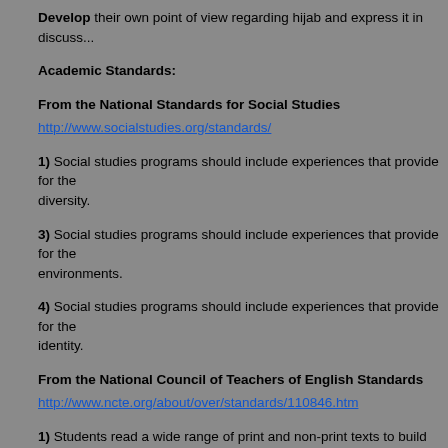Develop their own point of view regarding hijab and express it in discuss...
Academic Standards:
From the National Standards for Social Studies
http://www.socialstudies.org/standards/
1) Social studies programs should include experiences that provide for the... diversity.
3) Social studies programs should include experiences that provide for the... environments.
4) Social studies programs should include experiences that provide for the... identity.
From the National Council of Teachers of English Standards
http://www.ncte.org/about/over/standards/110846.htm
1) Students read a wide range of print and non-print texts to build an unde... and of the cultures of the United States and the world; to acquire new info... demands of society and the workplace; and for personal fulfillment.
8) Students use a variety of technological and information resources (e.g.... networks, video) to gather and synthesize information and to create and c...